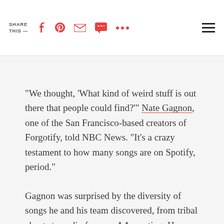SHARE THIS —
"We thought, 'What kind of weird stuff is out there that people could find?'" Nate Gagnon, one of the San Francisco-based creators of Forgotify, told NBC News. "It's a crazy testament to how many songs are on Spotify, period."
Gagnon was surprised by the diversity of songs he and his team discovered, from tribal chants to audio from an AA meeting. He describes it as a "weird, never-before-been-played Pandora."